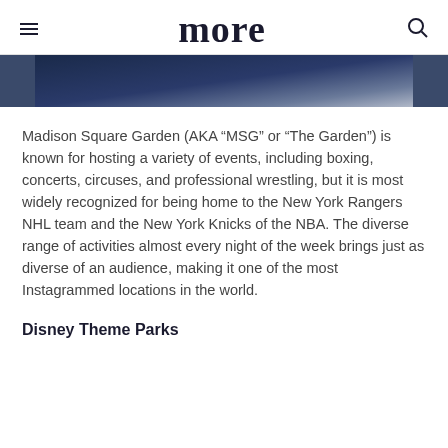more
[Figure (photo): Partial image of a dark blue scene, possibly tickets or event-related items at Madison Square Garden]
Madison Square Garden (AKA “MSG” or “The Garden”) is known for hosting a variety of events, including boxing, concerts, circuses, and professional wrestling, but it is most widely recognized for being home to the New York Rangers NHL team and the New York Knicks of the NBA. The diverse range of activities almost every night of the week brings just as diverse of an audience, making it one of the most Instagrammed locations in the world.
Disney Theme Parks